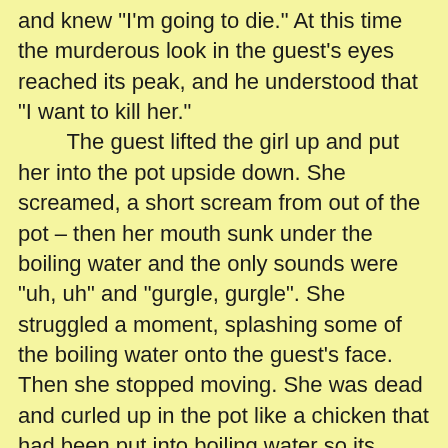and knew "I'm going to die." At this time the murderous look in the guest's eyes reached its peak, and he understood that "I want to kill her."
    The guest lifted the girl up and put her into the pot upside down. She screamed, a short scream from out of the pot – then her mouth sunk under the boiling water and the only sounds were "uh, uh" and "gurgle, gurgle". She struggled a moment, splashing some of the boiling water onto the guest's face. Then she stopped moving. She was dead and curled up in the pot like a chicken that had been put into boiling water so its feathers could be plucked.
    The guest began to notice the splashes of boiling water on his body cutting into his skin like knives. It was like someone had stuck a hot poker into his neck and stomach. When he realized this he said to himself, "I'm going to die."